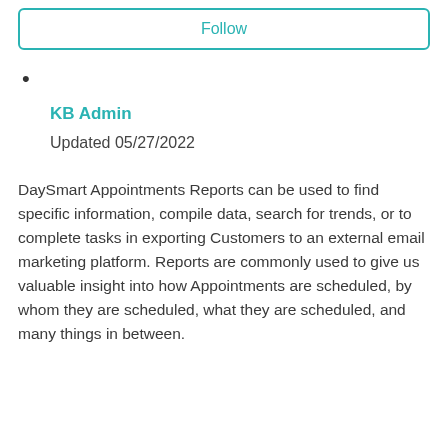Follow
KB Admin
Updated 05/27/2022
DaySmart Appointments Reports can be used to find specific information, compile data, search for trends, or to complete tasks in exporting Customers to an external email marketing platform. Reports are commonly used to give us valuable insight into how Appointments are scheduled, by whom they are scheduled, what they are scheduled, and many things in between.